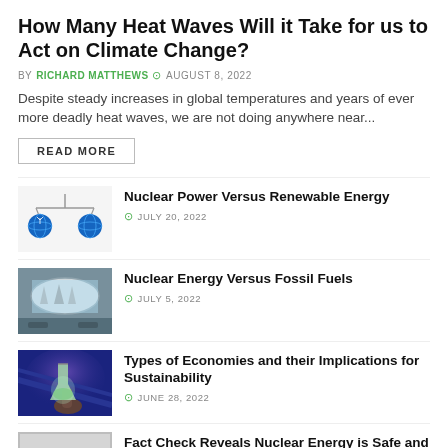How Many Heat Waves Will it Take for us to Act on Climate Change?
BY RICHARD MATTHEWS  AUGUST 8, 2022
Despite steady increases in global temperatures and years of ever more deadly heat waves, we are not doing anywhere near...
READ MORE
[Figure (illustration): Balance scale with two blue globe-like spheres on each pan, representing nuclear vs renewable energy]
Nuclear Power Versus Renewable Energy
JULY 20, 2022
[Figure (photo): Car rear-view mirror reflecting nuclear power plant cooling towers]
Nuclear Energy Versus Fossil Fuels
JULY 5, 2022
[Figure (photo): Hand holding glowing green flask with solar panels in background]
Types of Economies and their Implications for Sustainability
JUNE 28, 2022
[Figure (photo): Fake News text overlay image]
Fact Check Reveals Nuclear Energy is Safe and Clean but not Renewable